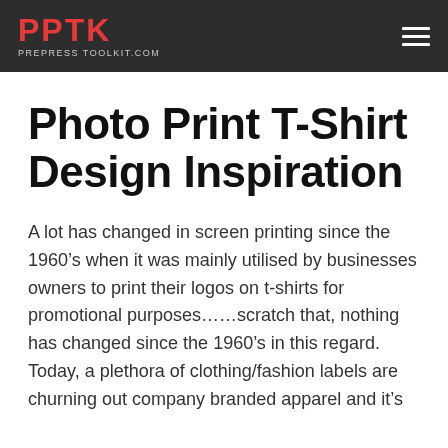PPTK PREPRESS TOOLKIT.COM
Photo Print T-Shirt Design Inspiration
A lot has changed in screen printing since the 1960’s when it was mainly utilised by businesses owners to print their logos on t-shirts for promotional purposes……scratch that, nothing has changed since the 1960’s in this regard. Today, a plethora of clothing/fashion labels are churning out company branded apparel and it’s